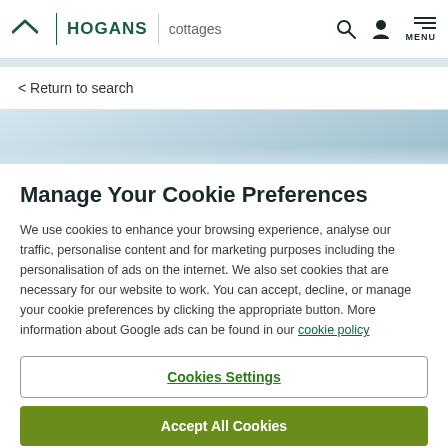HOGANS cottages
< Return to search
[Figure (photo): Blurred landscape hero image with light blue sky and misty scenery]
Manage Your Cookie Preferences
We use cookies to enhance your browsing experience, analyse our traffic, personalise content and for marketing purposes including the personalisation of ads on the internet. We also set cookies that are necessary for our website to work. You can accept, decline, or manage your cookie preferences by clicking the appropriate button. More information about Google ads can be found in our cookie policy
Cookies Settings
Accept All Cookies